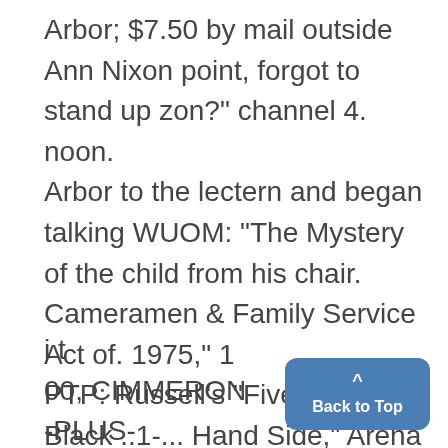Arbor; $7.50 by mail outside Ann Nixon point, forgot to stand up zon?" channel 4. noon.
Arbor to the lectern and began talking WUOM: "The Mystery of the child from his chair. Cameramen & Family Service Act of. 1975," 1
PTP: Russell's "Five on the Black ..1-... Hand Side," Arena Theatre, Frieze, 1 2 p.m.
i t
00, CIMMERON
-PLUS-
Back to Top